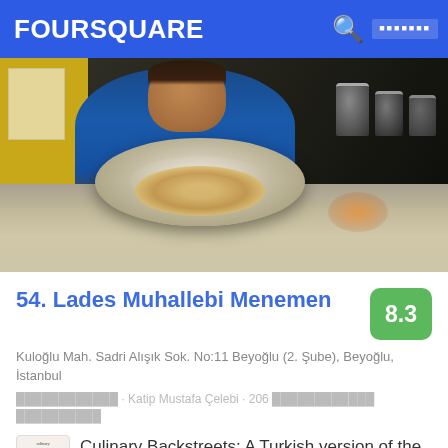FOURSQUARE
[Figure (photo): Kitchen photo showing a man in a blue shirt behind a metal counter with a large round plate/pan, yellow wall on left, dark kitchen equipment in background]
54. Lades Muhallebi Menemen
8.3
Kuloğlu Mah. Sadri Alışık Sok. No:11 Beyoğlu (2. Şube), Beyoğlu, İstanbul
████████████ · Katip Mustafa Çelebi · 206 ████████████ ██████████
Culinary Backstreets: A Turkish version of the American-style greasy-spoon diner, this restaurant